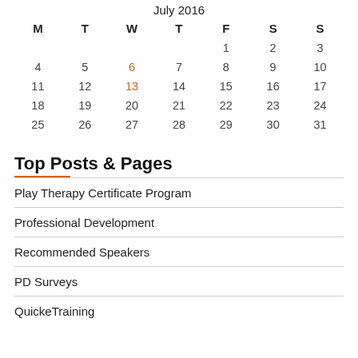| M | T | W | T | F | S | S |
| --- | --- | --- | --- | --- | --- | --- |
|  |  |  |  | 1 | 2 | 3 |
| 4 | 5 | 6 | 7 | 8 | 9 | 10 |
| 11 | 12 | 13 | 14 | 15 | 16 | 17 |
| 18 | 19 | 20 | 21 | 22 | 23 | 24 |
| 25 | 26 | 27 | 28 | 29 | 30 | 31 |
Top Posts & Pages
Play Therapy Certificate Program
Professional Development
Recommended Speakers
PD Surveys
QuickeTraining